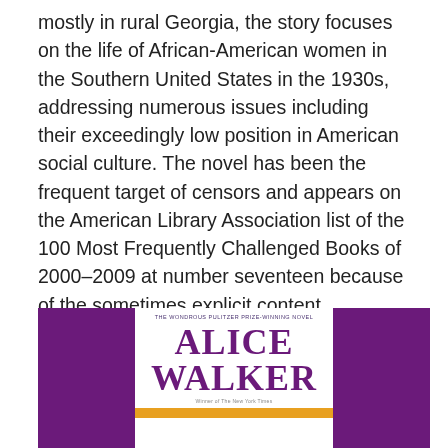mostly in rural Georgia, the story focuses on the life of African-American women in the Southern United States in the 1930s, addressing numerous issues including their exceedingly low position in American social culture. The novel has been the frequent target of censors and appears on the American Library Association list of the 100 Most Frequently Challenged Books of 2000–2009 at number seventeen because of the sometimes explicit content, particularly in terms of violence. In 2003 the book was listed on the BBC's The Big Read poll of the UK's “best-loved novels.”
[Figure (photo): Book cover of Alice Walker novel on a purple background. The cover shows 'Alice Walker' in large purple serif font with a subtitle above and a gold/orange bar near the bottom.]